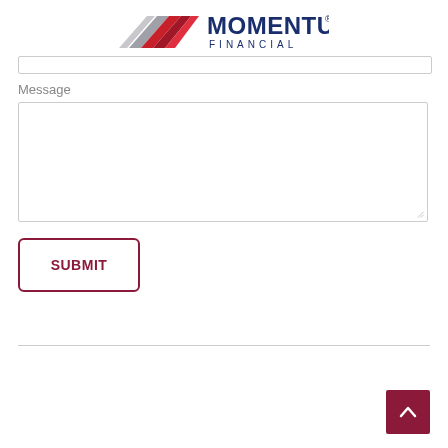[Figure (logo): Momentum Financial logo with red and silver chevron graphic on the left and 'MOMENTUM FINANCIAL' text in dark navy blue on the right with registered trademark symbol]
Message
[Figure (screenshot): Empty textarea input field with resize handle]
[Figure (other): SUBMIT button with dark red/maroon border and text on white background]
[Figure (other): Scroll-to-top button with dark red/maroon background and upward chevron arrow in white]